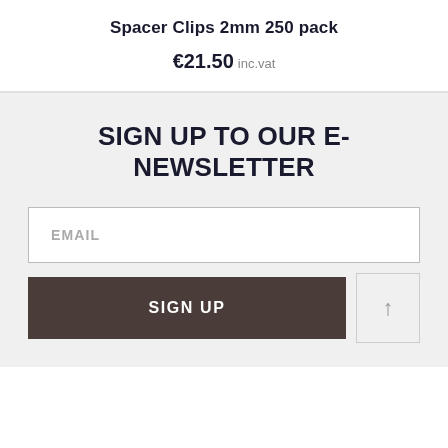Spacer Clips 2mm 250 pack
€21.50 inc.vat
SIGN UP TO OUR E-NEWSLETTER
EMAIL
SIGN UP